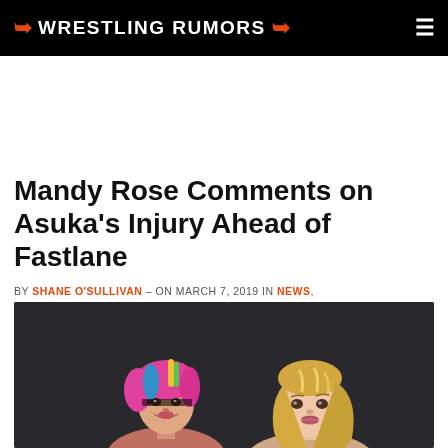⚡ WRESTLING RUMORS ⚡
Mandy Rose Comments on Asuka's Injury Ahead of Fastlane
BY SHANE O'SULLIVAN – ON MARCH 7, 2019 IN NEWS, WWE
[Figure (photo): Photo of Asuka (left, with multicolored pink and blue hair) and Mandy Rose (right, with long blonde hair) posed together against a dark background]